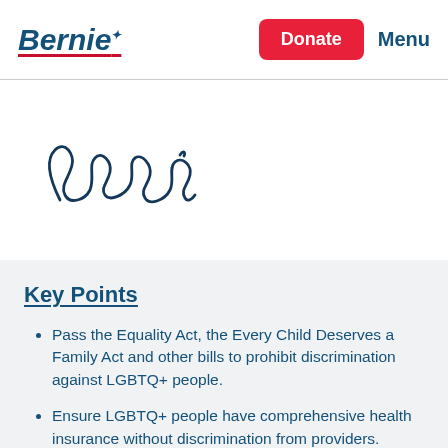Bernie | Donate | Menu
[Figure (illustration): Handwritten cursive signature reading 'Bernie' in dark navy ink]
Key Points
Pass the Equality Act, the Every Child Deserves a Family Act and other bills to prohibit discrimination against LGBTQ+ people.
Ensure LGBTQ+ people have comprehensive health insurance without discrimination from providers.